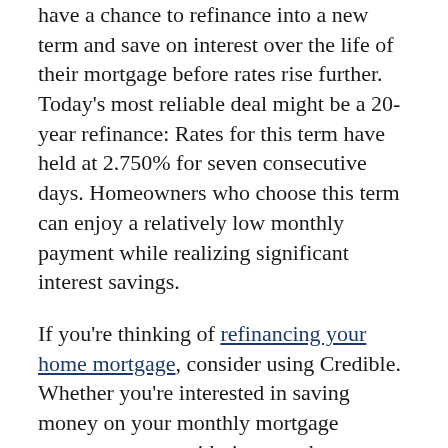have a chance to refinance into a new term and save on interest over the life of their mortgage before rates rise further. Today's most reliable deal might be a 20-year refinance: Rates for this term have held at 2.750% for seven consecutive days. Homeowners who choose this term can enjoy a relatively low monthly payment while realizing significant interest savings.
If you're thinking of refinancing your home mortgage, consider using Credible. Whether you're interested in saving money on your monthly mortgage payments, or considering a cash-out refinance, Credible's free online tool will let you compare rates from multiple mortgage lenders. You can see prequalified rates in as little as three minutes.
Compare Mortgage Refi Rates